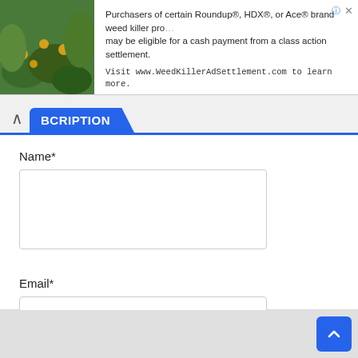[Figure (screenshot): Advertisement banner with photo of plants/flowers on left and text about Roundup class action settlement on right]
BCRIPTION
Name*
Email*
Subscribe